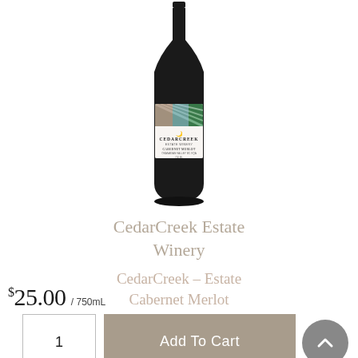[Figure (photo): A wine bottle of CedarCreek Estate Winery Cabernet Merlot with a colorful geometric label against a white background.]
CedarCreek Estate Winery
CedarCreek – Estate Cabernet Merlot
$25.00 / 750mL
1
Add To Cart